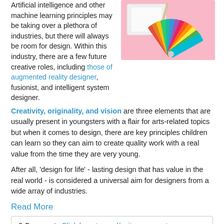Artificial intelligence and other machine learning principles may be taking over a plethora of industries, but there will always be room for design. Within this industry, there are a few future creative roles, including those of augmented reality designer, fusionist, and intelligent system designer.
[Figure (photo): A photo on a pink background showing a white notebook and a colorful Pantone fan deck with many color swatches fanned out.]
Creativity, originality, and vision are three elements that are usually present in youngsters with a flair for arts-related topics but when it comes to design, there are key principles children can learn so they can aim to create quality work with a real value from the time they are very young.
After all, ‘design for life’ - lasting design that has value in the real world - is considered a universal aim for designers from a wide array of industries.
Read More
0 Comments Click here to read/write comments